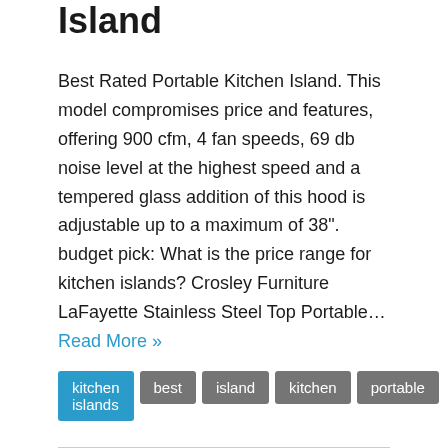Island
Best Rated Portable Kitchen Island. This model compromises price and features, offering 900 cfm, 4 fan speeds, 69 db noise level at the highest speed and a tempered glass addition of this hood is adjustable up to a maximum of 38". budget pick: What is the price range for kitchen islands? Crosley Furniture LaFayette Stainless Steel Top Portable… Read More »
kitchen islands
best
island
kitchen
portable
Bar Stool Kitchen Island Portable
Bar Stool Kitchen Island Portable. 4.6 out of 5 stars. Kitchen island with stools black table design from decor portable kitchen island for sale from a group of...